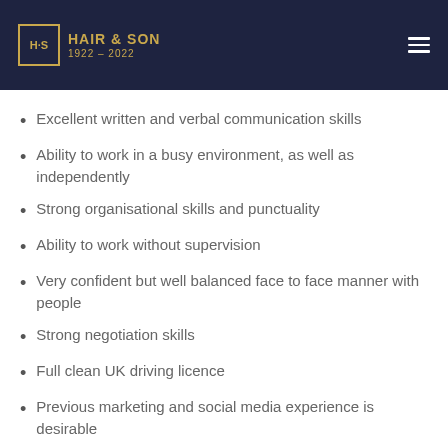HAIR & SON 1922 - 2022
Excellent written and verbal communication skills
Ability to work in a busy environment, as well as independently
Strong organisational skills and punctuality
Ability to work without supervision
Very confident but well balanced face to face manner with people
Strong negotiation skills
Full clean UK driving licence
Previous marketing and social media experience is desirable